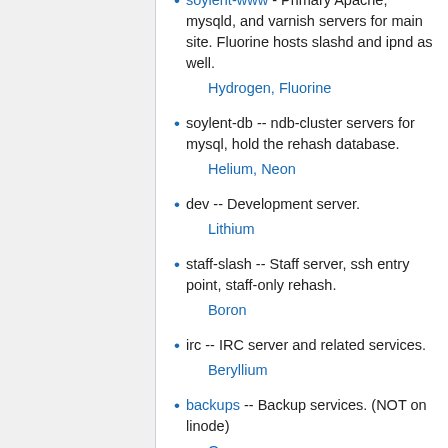soylent-www - Primary Apache, mysqld, and varnish servers for main site. Fluorine hosts slashd and ipnd as well.
Hydrogen, Fluorine
soylent-db -- ndb-cluster servers for mysql, hold the rehash database.
Helium, Neon
dev -- Development server.
Lithium
staff-slash -- Staff server, ssh entry point, staff-only rehash.
Boron
irc -- IRC server and related services.
Beryllium
backups -- Backup services. (NOT on linode)
Oxygen